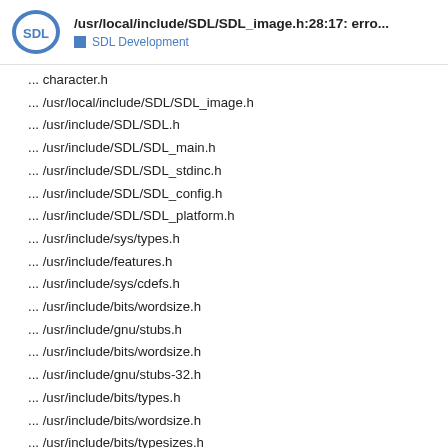/usr/local/include/SDL/SDL_image.h:28:17: erro... SDL Development
... character.h
... /usr/local/include/SDL/SDL_image.h
... /usr/include/SDL/SDL.h
... /usr/include/SDL/SDL_main.h
... /usr/include/SDL/SDL_stdinc.h
... /usr/include/SDL/SDL_config.h
... /usr/include/SDL/SDL_platform.h
... /usr/include/sys/types.h
... /usr/include/features.h
... /usr/include/sys/cdefs.h
... /usr/include/bits/wordsize.h
... /usr/include/gnu/stubs.h
... /usr/include/bits/wordsize.h
... /usr/include/gnu/stubs-32.h
... /usr/include/bits/types.h
... /usr/include/bits/wordsize.h
... /usr/include/bits/typesizes.h
... /usr/include/time.h
... /usr/lib/gcc/i686-pc-linux-gnu/4.3.4/in
7 / 13